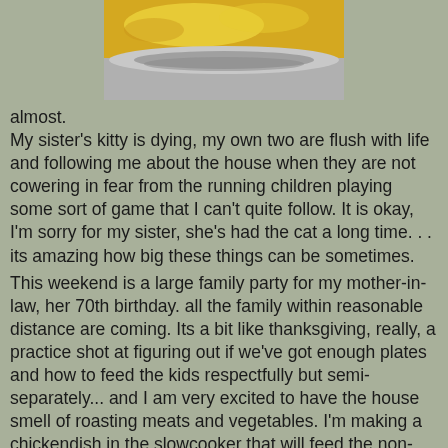[Figure (photo): Close-up photo of food in a slow cooker or bowl — yellow/orange cooked food (possibly eggs or corn dish) visible at top, with grey ceramic bowl rim at bottom]
almost.
My sister's kitty is dying, my own two are flush with life and following me about the house when they are not cowering in fear from the running children playing some sort of game that I can't quite follow.  It is okay, I'm sorry for my sister, she's had the cat a long time. . . its amazing how big these things can be sometimes.
This weekend is a large family party for my mother-in-law, her 70th birthday. all the family within reasonable distance are coming. Its a bit like thanksgiving, really, a practice shot at figuring out if we've got enough plates and how to feed the kids respectfully but semi-separately... and I am very excited to have the house smell of roasting meats and vegetables. I'm making a chickendish in the slowcooker that will feed the non-pork eating portions of our family and my hopes are high but wavery that it'll be a hit.  I think I have some lingering doubts about slowcookers and it is probably a very deepseated issue that I'll have to visit with ChakraC-- just to survive. really.